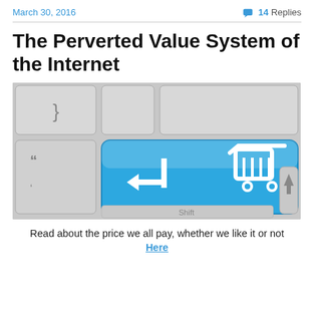March 30, 2016   💬 14 Replies
The Perverted Value System of the Internet
[Figure (photo): Close-up photograph of a keyboard with a large blue 'Enter/shopping cart' key in the center, showing a white shopping cart icon and an arrow on the blue key, with grey keyboard keys in the background including keys showing quote marks and an arrow key.]
Read about the price we all pay, whether we like it or not
Here